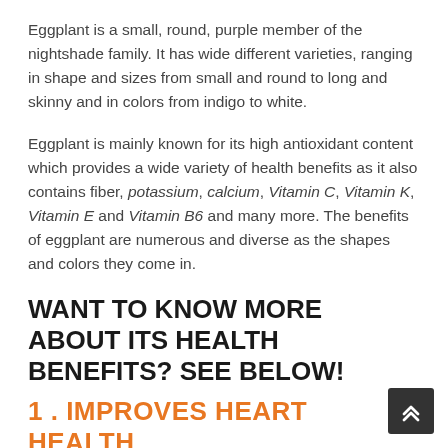Eggplant is a small, round, purple member of the nightshade family. It has wide different varieties, ranging in shape and sizes from small and round to long and skinny and in colors from indigo to white.
Eggplant is mainly known for its high antioxidant content which provides a wide variety of health benefits as it also contains fiber, potassium, calcium, Vitamin C, Vitamin K, Vitamin E and Vitamin B6 and many more. The benefits of eggplant are numerous and diverse as the shapes and colors they come in.
WANT TO KNOW MORE ABOUT ITS HEALTH BENEFITS? SEE BELOW!
1 . IMPROVES HEART HEALTH